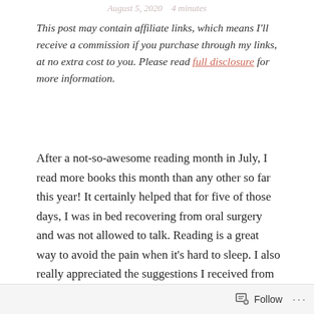August 5, 2020 · 4 minutes
This post may contain affiliate links, which means I'll receive a commission if you purchase through my links, at no extra cost to you. Please read full disclosure for more information.
After a not-so-awesome reading month in July, I read more books this month than any other so far this year! It certainly helped that for five of those days, I was in bed recovering from oral surgery and was not allowed to talk. Reading is a great way to avoid the pain when it's hard to sleep. I also really appreciated the suggestions I received from many of you and have added them to my radar to look into (or they are currently waiting to be read right now.)
Follow